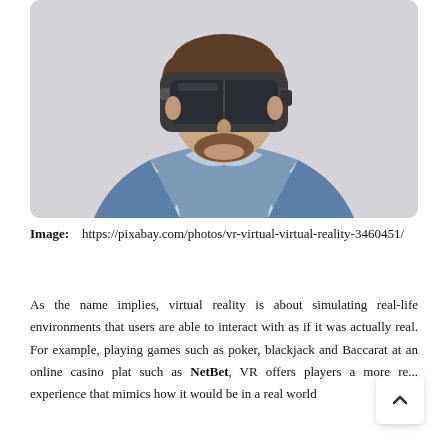[Figure (photo): A young man wearing a VR (virtual reality) headset, dressed in a denim jacket, photographed against a light grey background.]
Image: https://pixabay.com/photos/vr-virtual-virtual-reality-3460451/
As the name implies, virtual reality is about simulating real-life environments that users are able to interact with as if it was actually real. For example, playing games such as poker, blackjack and Baccarat at an online casino plat such as NetBet, VR offers players a more re... experience that mimics how it would be in a real world